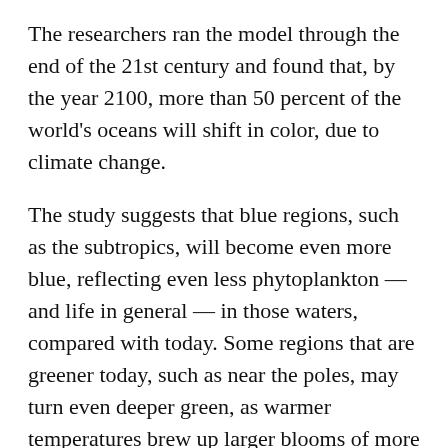The researchers ran the model through the end of the 21st century and found that, by the year 2100, more than 50 percent of the world's oceans will shift in color, due to climate change.
The study suggests that blue regions, such as the subtropics, will become even more blue, reflecting even less phytoplankton — and life in general — in those waters, compared with today. Some regions that are greener today, such as near the poles, may turn even deeper green, as warmer temperatures brew up larger blooms of more diverse phytoplankton.
“The model suggests the changes won’t appear huge to the naked eye, and the ocean will still look like it